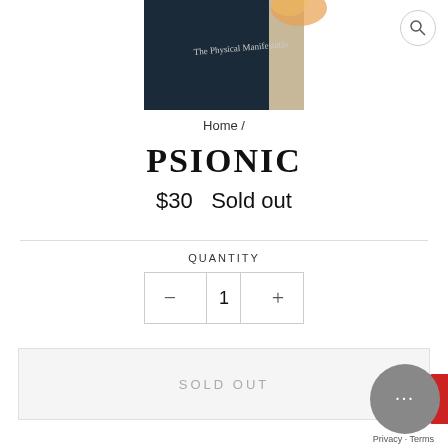[Figure (photo): Partial view of a book cover with dark background and text reading 'The Physical Manifestatio...' at the top of the page]
Home /
PSIONIC
$30  Sold out
QUANTITY
— 1 +
SOLD OUT
Privacy · Terms